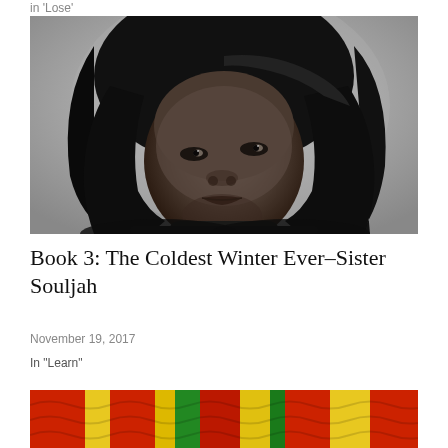in 'Lose'
[Figure (photo): Black and white portrait photograph of a young Black woman with a straight bob haircut, looking slightly upward, wearing a dark top, against a light grey background.]
Book 3: The Coldest Winter Ever–Sister Souljah
November 19, 2017
In "Learn"
[Figure (photo): Colorful image with red, yellow, and green stripes or patterns, partially visible at bottom of page.]